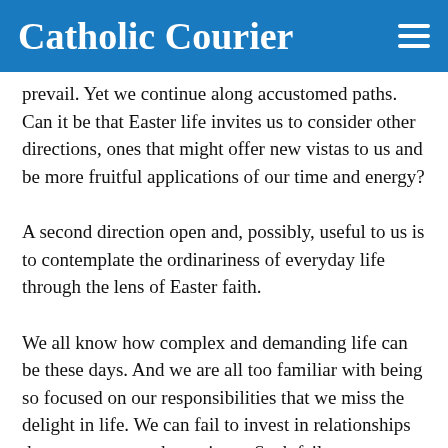Catholic Courier
prevail. Yet we continue along accustomed paths. Can it be that Easter life invites us to consider other directions, ones that might offer new vistas to us and be more fruitful applications of our time and energy?
A second direction open and, possibly, useful to us is to contemplate the ordinariness of everyday life through the lens of Easter faith.
We all know how complex and demanding life can be these days. And we are all too familiar with being so focused on our responsibilities that we miss the delight in life. We can fail to invest in relationships that encourage and sustain us. Such failure comes not from deliberate decision, but is born of distraction, fatigue or an inability to switch gears from intense activity to leisure.